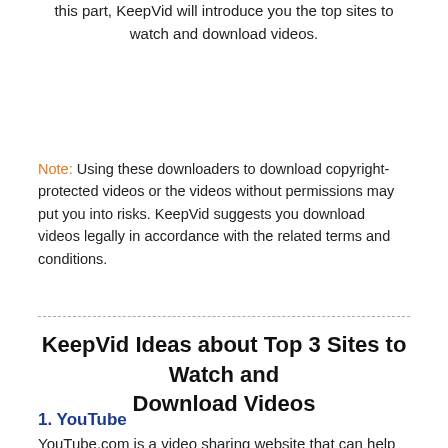this part, KeepVid will introduce you the top sites to watch and download videos.
Note: Using these downloaders to download copyright-protected videos or the videos without permissions may put you into risks. KeepVid suggests you download videos legally in accordance with the related terms and conditions.
KeepVid Ideas about Top 3 Sites to Watch and Download Videos
1. YouTube
YouTube.com is a video sharing website that can help you to watch and download videos. KeepVid thinks that this